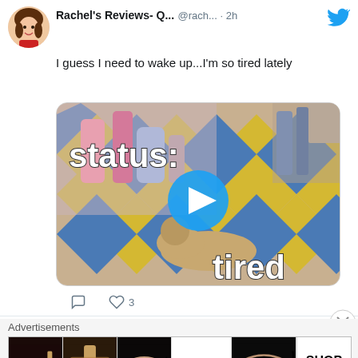Rachel's Reviews- Q... @rach... · 2h
I guess I need to wake up...I'm so tired lately
[Figure (screenshot): Video thumbnail meme showing a tired dog/cat lying on a yellow and blue checkered floor with text 'status: tired' and a play button overlay]
3
Advertisements
[Figure (infographic): Advertisement banner for Ulta Beauty showing makeup-related images including lips, brushes, eyes, and SHOP NOW button]